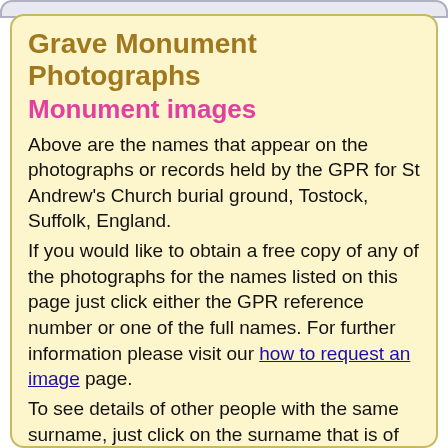Grave Monument Photographs
Monument images
Above are the names that appear on the photographs or records held by the GPR for St Andrew's Church burial ground, Tostock, Suffolk, England.
If you would like to obtain a free copy of any of the photographs for the names listed on this page just click either the GPR reference number or one of the full names. For further information please visit our how to request an image page.
To see details of other people with the same surname, just click on the surname that is of interest.
The ages given on monuments are often incorrect and so dates of birth should be